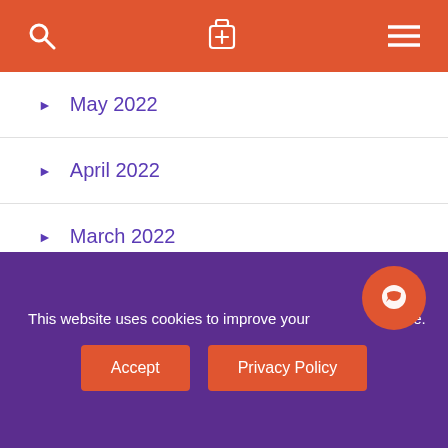[Navigation bar with search, luggage, and menu icons]
May 2022
April 2022
March 2022
February 2022
January 2022
December 2021
November 2021
October 2021
September 2021
August 2021
This website uses cookies to improve your experience.
Accept | Privacy Policy